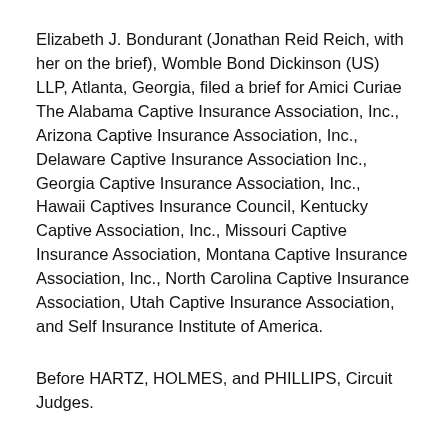Elizabeth J. Bondurant (Jonathan Reid Reich, with her on the brief), Womble Bond Dickinson (US) LLP, Atlanta, Georgia, filed a brief for Amici Curiae The Alabama Captive Insurance Association, Inc., Arizona Captive Insurance Association, Inc., Delaware Captive Insurance Association Inc., Georgia Captive Insurance Association, Inc., Hawaii Captives Insurance Council, Kentucky Captive Association, Inc., Missouri Captive Insurance Association, Montana Captive Insurance Association, Inc., North Carolina Captive Insurance Association, Utah Captive Insurance Association, and Self Insurance Institute of America.
Before HARTZ, HOLMES, and PHILLIPS, Circuit Judges.
HARTZ, Circuit Judge.